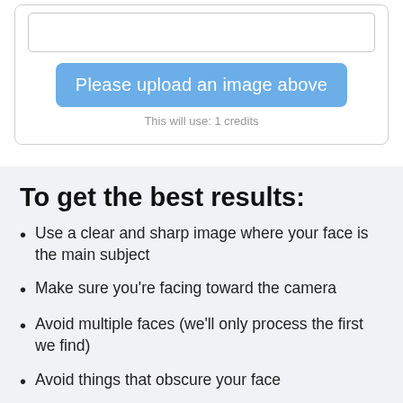[Figure (screenshot): Image upload placeholder box with light border]
Please upload an image above
This will use: 1 credits
To get the best results:
Use a clear and sharp image where your face is the main subject
Make sure you're facing toward the camera
Avoid multiple faces (we'll only process the first we find)
Avoid things that obscure your face